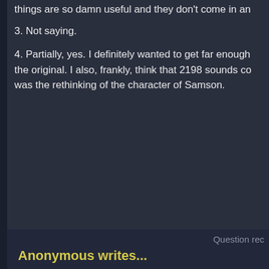things are so damn useful and they don't come in an
3. Not saying.
4. Partially, yes. I definitely wanted to get far enough the original. I also, frankly, think that 2198 sounds co was the rethinking of the character of Samson.
Question rec
Anonymous writes...
How did Alex get elected to the position of Secretary which controls almost everything on Earth before the election/installation of someone who they don't appr for his release?
Greg responds...
Your premise is faulty.